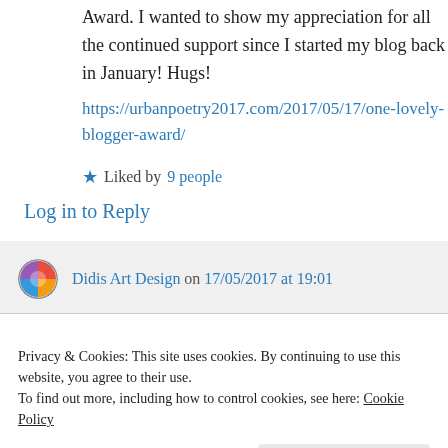Award. I wanted to show my appreciation for all the continued support since I started my blog back in January! Hugs!
https://urbanpoetry2017.com/2017/05/17/one-lovely-blogger-award/
Liked by 9 people
Log in to Reply
Didis Art Design on 17/05/2017 at 19:01
Privacy & Cookies: This site uses cookies. By continuing to use this website, you agree to their use. To find out more, including how to control cookies, see here: Cookie Policy
Close and accept